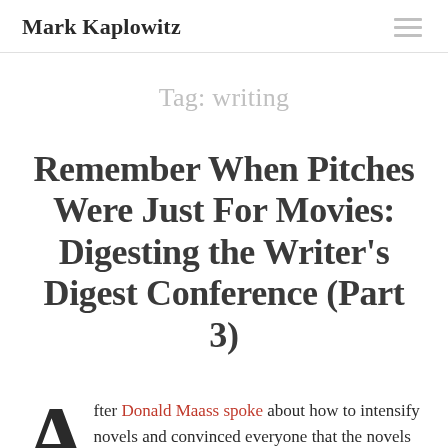Mark Kaplowitz
Tag: writing
Remember When Pitches Were Just For Movies: Digesting the Writer's Digest Conference (Part 3)
After Donald Maass spoke about how to intensify novels and convinced everyone that the novels